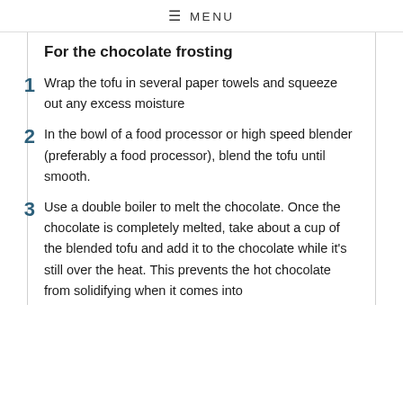≡ MENU
For the chocolate frosting
Wrap the tofu in several paper towels and squeeze out any excess moisture
In the bowl of a food processor or high speed blender (preferably a food processor), blend the tofu until smooth.
Use a double boiler to melt the chocolate. Once the chocolate is completely melted, take about a cup of the blended tofu and add it to the chocolate while it's still over the heat. This prevents the hot chocolate from solidifying when it comes into